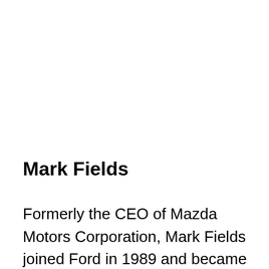Mark Fields
Formerly the CEO of Mazda Motors Corporation, Mark Fields joined Ford in 1989 and became its CEO in 2014. After